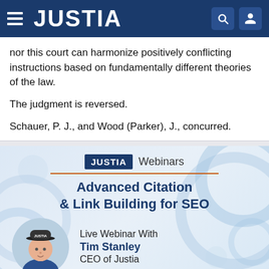JUSTIA
nor this court can harmonize positively conflicting instructions based on fundamentally different theories of the law.
The judgment is reversed.
Schauer, P. J., and Wood (Parker), J., concurred.
[Figure (infographic): Justia Webinars promotional banner for 'Advanced Citation & Link Building for SEO' webinar featuring Tim Stanley, CEO of Justia. Contains Justia logo badge, orange divider line, webinar title, and speaker photo with info.]